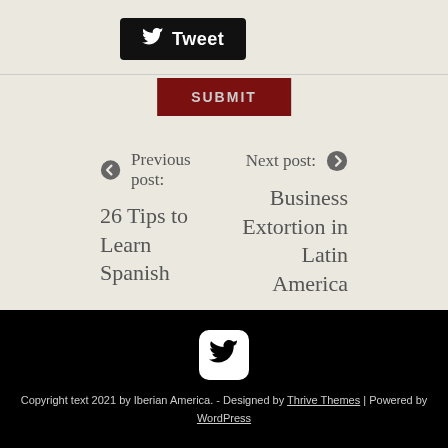[Figure (other): Tweet button with Twitter bird icon on black background]
SUBMIT
Previous post: 26 Tips to Learn Spanish
Next post: Business Extortion in Latin America
[Figure (logo): Twitter bird icon in white on black rounded square]
Copyright text 2021 by Iberian America.  -  Designed by Thrive Themes | Powered by WordPress